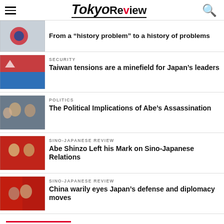Tokyo Review
From a “history problem” to a history of problems
SECURITY
Taiwan tensions are a minefield for Japan’s leaders
POLITICS
The Political Implications of Abe’s Assassination
SINO-JAPANESE REVIEW
Abe Shinzo Left his Mark on Sino-Japanese Relations
SINO-JAPANESE REVIEW
China warily eyes Japan’s defense and diplomacy moves
@TOKYOREVIEW ON TWITTER